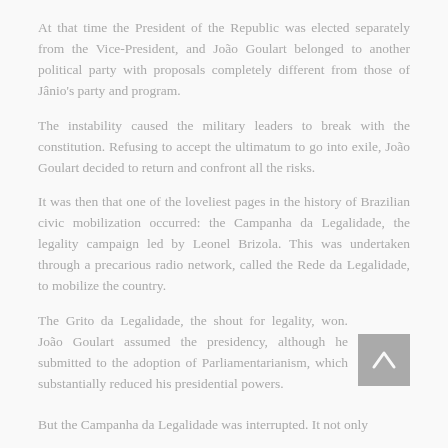At that time the President of the Republic was elected separately from the Vice-President, and João Goulart belonged to another political party with proposals completely different from those of Jânio's party and program.
The instability caused the military leaders to break with the constitution. Refusing to accept the ultimatum to go into exile, João Goulart decided to return and confront all the risks.
It was then that one of the loveliest pages in the history of Brazilian civic mobilization occurred: the Campanha da Legalidade, the legality campaign led by Leonel Brizola. This was undertaken through a precarious radio network, called the Rede da Legalidade, to mobilize the country.
The Grito da Legalidade, the shout for legality, won. João Goulart assumed the presidency, although he submitted to the adoption of Parliamentarianism, which substantially reduced his presidential powers.
But the Campanha da Legalidade was interrupted. It not only